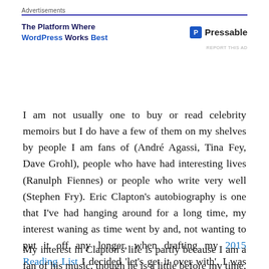Advertisements
[Figure (other): Advertisement banner for Pressable: 'The Platform Where WordPress Works Best' with Pressable logo]
I am not usually one to buy or read celebrity memoirs but I do have a few of them on my shelves by people I am fans of (André Agassi, Tina Fey, Dave Grohl), people who have had interesting lives (Ranulph Fiennes) or people who write very well (Stephen Fry). Eric Clapton's autobiography is one that I've had hanging around for a long time, my interest waning as time went by and, not wanting to put it off any longer, when drafting my 2015 Reading List I decided 'let's get it over with'. I was pleasantly surprised by how much I enjoyed it.
My interest in Clapton's life is partly because I am a fan of his music, though he is a little before my time, but mostly